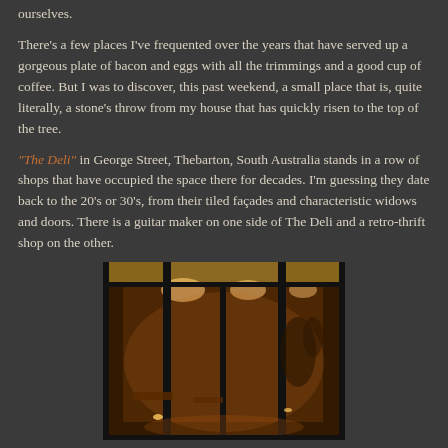ourselves.
There's a few places I've frequented over the years that have served up a gorgeous plate of bacon and eggs with all the trimmings and a good cup of coffee. But I was to discover, this past weekend, a small place that is, quite literally, a stone's throw from my house that has quickly risen to the top of the tree.
"The Deli" in George Street, Thebarton, South Australia stands in a row of shops that have occupied the space there for decades. I'm guessing they date back to the 20's or 30's, from their tiled façades and characteristic widows and doors. There is a guitar maker on one side of The Deli and a retro-thrift shop on the other.
[Figure (photo): Interior of The Deli cafe viewed through large glass windows at night, showing warm orange ambient lighting, tables, chairs and decorative elements inside.]